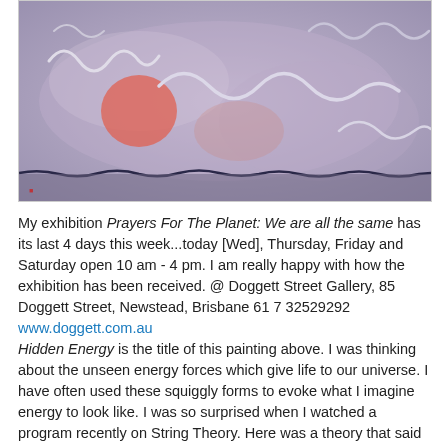[Figure (photo): An abstract painting with a blue-grey, dusty background. White squiggly snake-like forms are scattered across the canvas. There is a red-orange circle (sun) on the left side. The bottom edge has a dark wavy line suggesting a horizon. The overall mood is ethereal and dreamlike.]
My exhibition Prayers For The Planet: We are all the same has its last 4 days this week...today [Wed], Thursday, Friday and Saturday open 10 am - 4 pm. I am really happy with how the exhibition has been received. @ Doggett Street Gallery, 85 Doggett Street, Newstead, Brisbane 61 7 32529292
www.doggett.com.au
Hidden Energy is the title of this painting above. I was thinking about the unseen energy forces which give life to our universe. I have often used these squiggly forms to evoke what I imagine energy to look like. I was so surprised when I watched a program recently on String Theory. Here was a theory that said these unseen forces of energy were shaped like a twisted string or rubber band! I got really excited thinking about how I might be onto something...